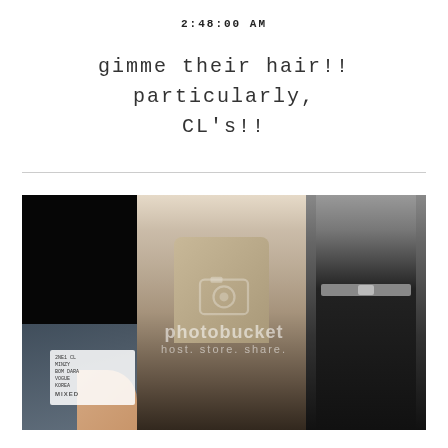2:48:00 AM
gimme their hair!! particularly, CL's!!
[Figure (photo): Photo of magazine pages showing two female figures in fashion outfits, one in a beige jacket with dark pants, one in a dark leather outfit, held by a hand. Photobucket watermark overlaid on image.]